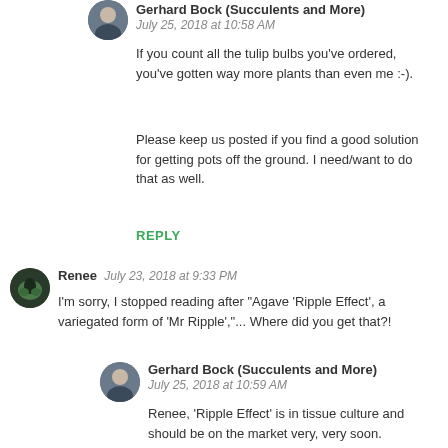[Figure (photo): Circular avatar of Gerhard Bock, a person in a dark jacket]
Gerhard Bock (Succulents and More)
July 25, 2018 at 10:58 AM
If you count all the tulip bulbs you've ordered, you've gotten way more plants than even me :-).
Please keep us posted if you find a good solution for getting pots off the ground. I need/want to do that as well.
REPLY
[Figure (photo): Circular avatar of Renee, showing a dark succulent plant]
Renee   July 23, 2018 at 9:33 PM
I'm sorry, I stopped reading after "Agave 'Ripple Effect', a variegated form of 'Mr Ripple','... Where did you get that?!
[Figure (photo): Circular avatar of Gerhard Bock, a person in a dark jacket]
Gerhard Bock (Succulents and More)
July 25, 2018 at 10:59 AM
Renee, 'Ripple Effect' is in tissue culture and should be on the market very, very soon.